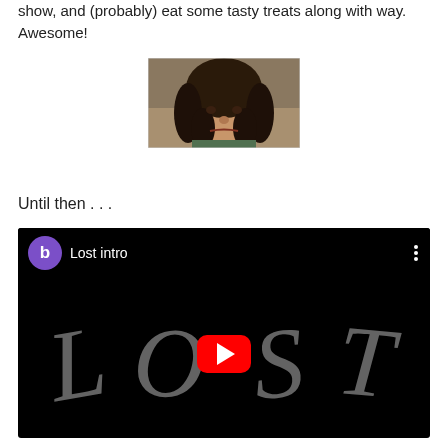show, and (probably) eat some tasty treats along with way.  Awesome!
[Figure (photo): A man with long curly dark hair, appearing to be a character from a TV show, making an expression.]
Until then . . .
[Figure (screenshot): YouTube video embed showing 'Lost intro' with the LOST TV show title card on black background and a YouTube play button in the center. Avatar shows purple circle with letter 'b'.]